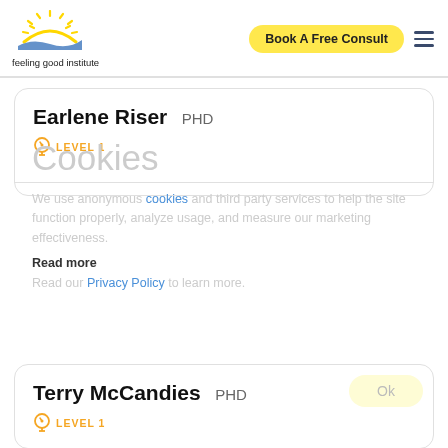[Figure (logo): Feeling Good Institute logo with sun/rays icon and text 'feeling good institute']
Book A Free Consult
Earlene Riser PHD
LEVEL 1
Cookies
We use anonymous cookies and third party services to help the site function properly, analyze usage, and measure our marketing effectiveness.
Read more
Read our Privacy Policy to learn more.
Terry McCandies PHD
LEVEL 1
Ok